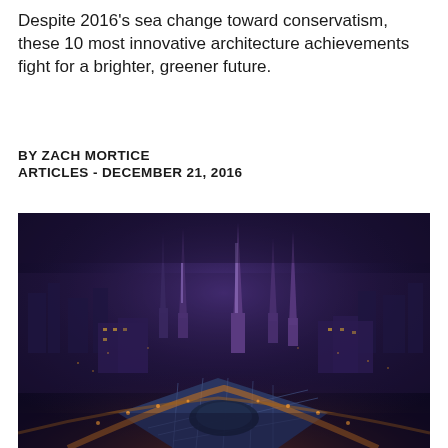Despite 2016's sea change toward conservatism, these 10 most innovative architecture achievements fight for a brighter, greener future.
BY ZACH MORTICE
ARTICLES - DECEMBER 21, 2016
[Figure (photo): Aerial night-time rendering of a futuristic city with tall spire towers illuminated in purple and blue tones, with orange street lighting below, viewed from above at an angle.]